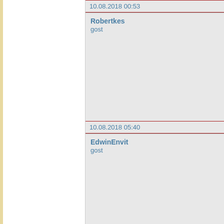10.08.2018 00:53
Robertkes
gost
10.08.2018 05:40
EdwinEnvit
gost
10.08.2018 06:48